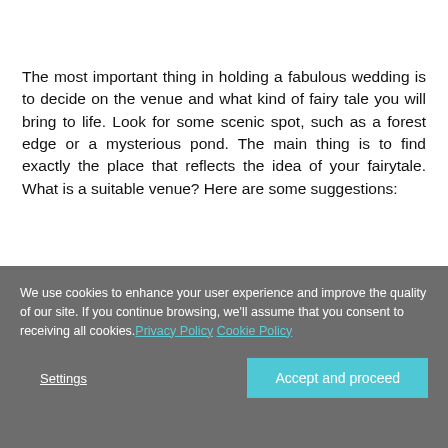The most important thing in holding a fabulous wedding is to decide on the venue and what kind of fairy tale you will bring to life. Look for some scenic spot, such as a forest edge or a mysterious pond. The main thing is to find exactly the place that reflects the idea of your fairytale. What is a suitable venue? Here are some suggestions:
We use cookies to enhance your user experience and improve the quality of our site. If you continue browsing, we'll assume that you consent to receiving all cookies. Privacy Policy Cookie Policy
Settings
Accept and proceed